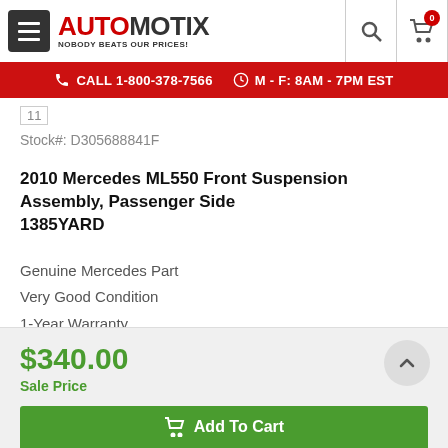[Figure (logo): Automotix logo with menu button, search and cart icons in header]
CALL 1-800-378-7566   M - F: 8AM - 7PM EST
11
Stock#: D305688841F
2010 Mercedes ML550 Front Suspension Assembly, Passenger Side
1385YARD
Genuine Mercedes Part
Very Good Condition
1-Year Warranty
Located at Washington DC, District of Columbia 22026
More Details
$340.00
Sale Price
Add To Cart